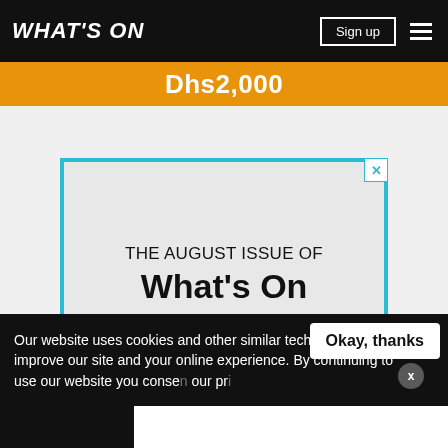WHAT'S ON | Sign up
Dhs2,000
[Figure (illustration): Advertisement box with cyan border and grey background reading: THE AUGUST ISSUE OF What's On IS AVAILABLE ONLINE]
Our website uses cookies and other similar technologies to improve our site and your online experience. By continuing to use our website you consent our pr[ivacy policy]
Okay, thanks